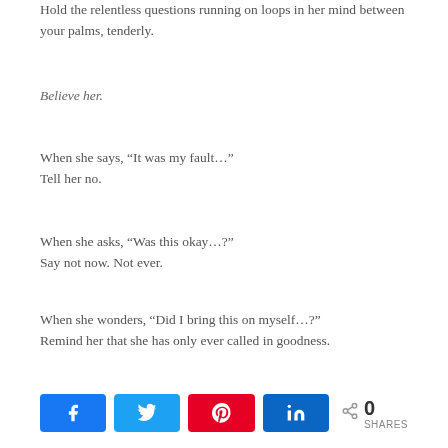Hold the relentless questions running on loops in her mind between your palms, tenderly.
Believe her.
When she says, “It was my fault…”
Tell her no.
When she asks, “Was this okay…?”
Say not now. Not ever.
When she wonders, “Did I bring this on myself…?”
Remind her that she has only ever called in goodness.